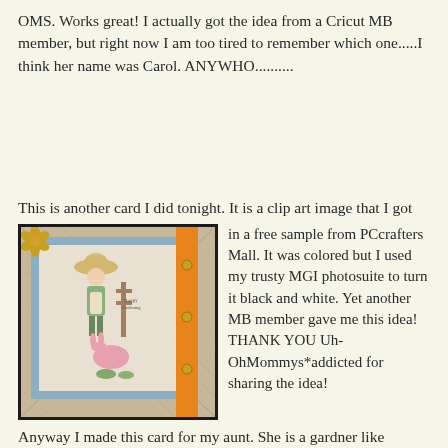OMS. Works great! I actually got the idea from a Cricut MB member, but right now I am too tired to remember which one.....I think her name was Carol. ANYWHO..........
This is another card I did tonight. It is a clip art image that I got in a free sample from PCcrafters Mall. It was colored but I used my trusty MGI photosuite to turn it black and white. Yet another MB member gave me this idea! THANK YOU Uh-OhMommys*addicted for sharing the idea! Anyway I made this card for my aunt. She is a gardner like myself. I even got to use some skittles, which seem to be all the rage right now!
[Figure (photo): A handmade greeting card featuring a clip art illustration of a woman gardener and a pink figure/rabbit, with blue matting, orange ribbon/strip with gold brads, and a gold flower embellishment in the top left corner, on a plaid patterned background.]